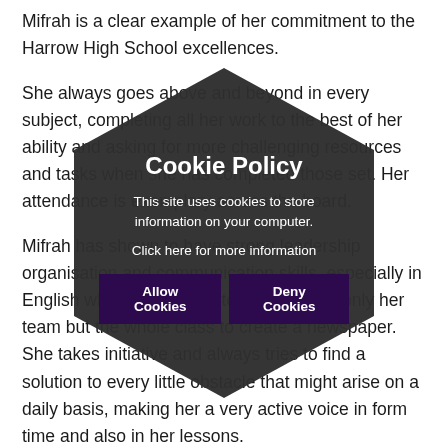Mifrah is a clear example of her commitment to the Harrow High School excellences.

She always goes above and beyond in every subject, completing all her work to the best of her ability and asking for more challenging resources and tasks when she has completed those set. Her attendance is exemplary across the board.

Mifrah has shown to have strong leadership organisation and communication skills, especially in English where she chose to organise not only her team but the whole class to create a newspaper. She takes initiative and always tries to find a solution to every little obstacle that might arise on a daily basis, making her a very active voice in form time and also in her lessons.
[Figure (other): Cookie policy popup overlay with dark hexagonal background shape. Contains title 'Cookie Policy', body text about site cookies, 'Click here for more information' link, and two buttons: 'Allow Cookies' and 'Deny Cookies'. A close (×) button is at the top.]